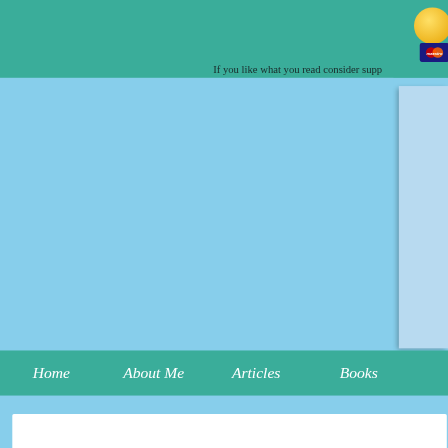If you like what you read consider supp[orting]
[Figure (screenshot): Website screenshot showing teal header bar with PayPal donation button (yellow circle) and Maestro card icon, light blue main content area, right-side lighter blue panel, teal navigation bar with menu items Home, About Me, Articles, Books, and bottom white content box with bold title 'Monsanto/' partially visible]
Home  About Me  Articles  Books
Monsanto/